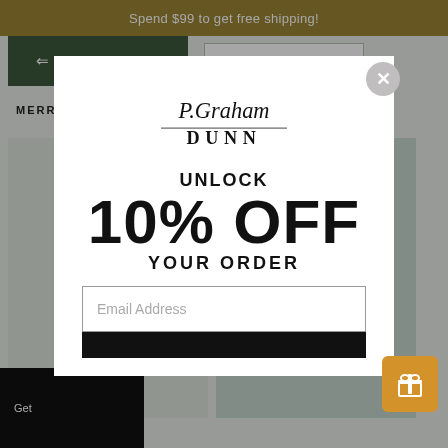Spend $99 to get free shipping!
Filter (1)
Best selling
MERRY CHRISTMAS
TODAY IS A GOOD
[Figure (logo): P. Graham Dunn logo with stylized script and serif text]
UNLOCK
10% OFF
YOUR ORDER
Email Address
Get
[Figure (illustration): Orange gift icon button in bottom right]